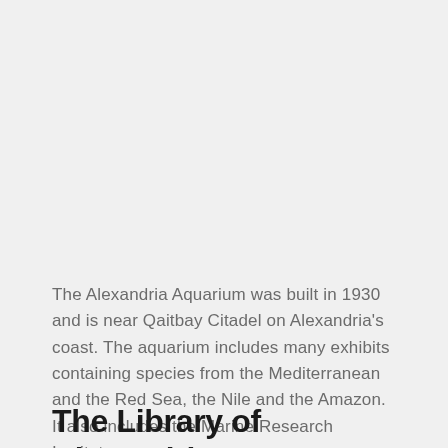The Alexandria Aquarium was built in 1930 and is near Qaitbay Citadel on Alexandria's coast. The aquarium includes many exhibits containing species from the Mediterranean and the Red Sea, the Nile and the Amazon. It also includes the Marine Research Institute.
The Library of Alexandria